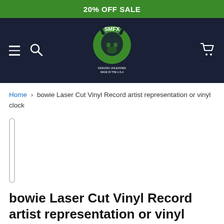20% OFF SALE
[Figure (logo): SMFX Designs logo — green bull/bison head with horns on dark navy header background, with hamburger menu and search icon on left, cart icon on right]
Home › bowie Laser Cut Vinyl Record artist representation or vinyl clock
[Figure (other): Vertical rounded rectangle slider/scrollbar placeholder bar on left side]
bowie Laser Cut Vinyl Record artist representation or vinyl clock
by SMFX Designs